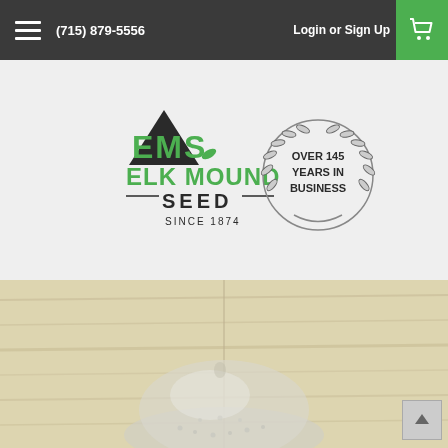(715) 879-5556   Login or  Sign Up
[Figure (logo): Elk Mound Seed logo with EMS lettering, mountain graphic, green text, 'SINCE 1874', and a laurel wreath badge reading 'OVER 145 YEARS IN BUSINESS']
[Figure (photo): Close-up photo of a pile of small white/silver seeds on a light wood grain surface]